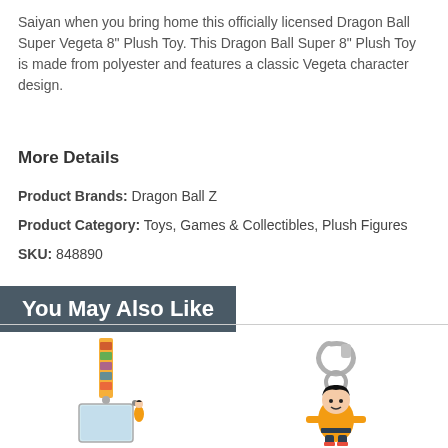Saiyan when you bring home this officially licensed Dragon Ball Super Vegeta 8" Plush Toy. This Dragon Ball Super 8" Plush Toy is made from polyester and features a classic Vegeta character design.
More Details
Product Brands: Dragon Ball Z
Product Category: Toys, Games & Collectibles, Plush Figures
SKU: 848890
You May Also Like
[Figure (photo): Dragon Ball Z lanyard with character print strap, ID card holder, and small Goku charm figure]
[Figure (photo): Dragon Ball Z Goku rubber keychain with metal carabiner clip and key ring]